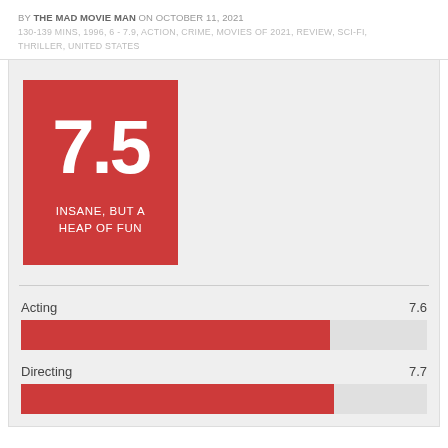BY THE MAD MOVIE MAN ON OCTOBER 11, 2021
130-139 MINS, 1996, 6 - 7.9, ACTION, CRIME, MOVIES OF 2021, REVIEW, SCI-FI, THRILLER, UNITED STATES
[Figure (infographic): Score card showing rating 7.5 with label INSANE, BUT A HEAP OF FUN in red box]
Acting 7.6
[Figure (bar-chart): Acting]
Directing 7.7
[Figure (bar-chart): Directing]